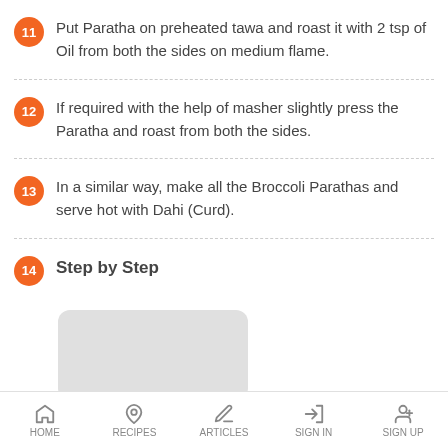11 Put Paratha on preheated tawa and roast it with 2 tsp of Oil from both the sides on medium flame.
12 If required with the help of masher slightly press the Paratha and roast from both the sides.
13 In a similar way, make all the Broccoli Parathas and serve hot with Dahi (Curd).
14 Step by Step
[Figure (photo): Image placeholder for step-by-step photo]
HOME  RECIPES  ARTICLES  SIGN IN  SIGN UP